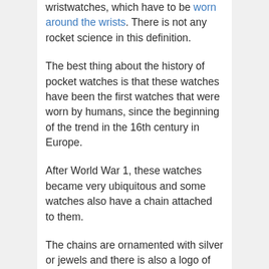wristwatches, which have to be worn around the wrists. There is not any rocket science in this definition.
The best thing about the history of pocket watches is that these watches have been the first watches that were worn by humans, since the beginning of the trend in the 16th century in Europe.
After World War 1, these watches became very ubiquitous and some watches also have a chain attached to them.
The chains are ornamented with silver or jewels and there is also a logo of